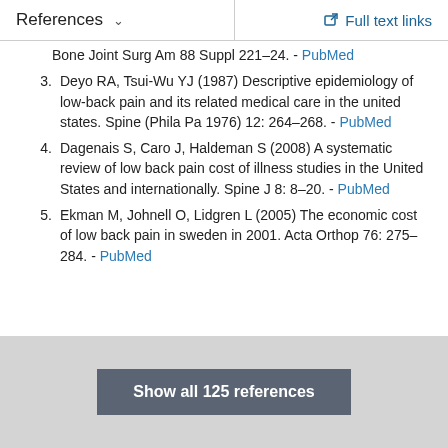References  ∨  Full text links
Bone Joint Surg Am 88 Suppl 221–24. - PubMed
3. Deyo RA, Tsui-Wu YJ (1987) Descriptive epidemiology of low-back pain and its related medical care in the united states. Spine (Phila Pa 1976) 12: 264–268. - PubMed
4. Dagenais S, Caro J, Haldeman S (2008) A systematic review of low back pain cost of illness studies in the United States and internationally. Spine J 8: 8–20. - PubMed
5. Ekman M, Johnell O, Lidgren L (2005) The economic cost of low back pain in sweden in 2001. Acta Orthop 76: 275–284. - PubMed
Show all 125 references